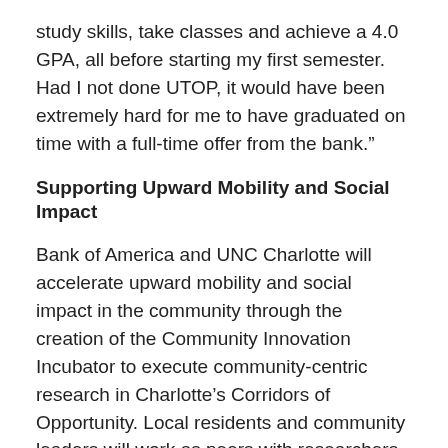study skills, take classes and achieve a 4.0 GPA, all before starting my first semester. Had I not done UTOP, it would have been extremely hard for me to have graduated on time with a full-time offer from the bank.”
Supporting Upward Mobility and Social Impact
Bank of America and UNC Charlotte will accelerate upward mobility and social impact in the community through the creation of the Community Innovation Incubator to execute community-centric research in Charlotte’s Corridors of Opportunity. Local residents and community leaders will work as peers with researchers, students and experts to co-design data-driven solutions for the region. The research funded through the investment supports the scholarly mission of the University, while helping to address community issues.